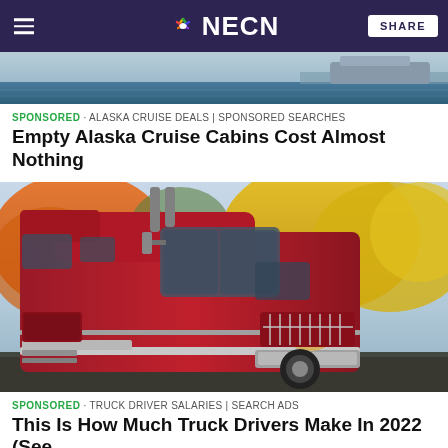NECN
[Figure (photo): Harbor/dock scene with water and a ship in the background, partially visible at top of page]
SPONSORED · ALASKA CRUISE DEALS | SPONSORED SEARCHES
Empty Alaska Cruise Cabins Cost Almost Nothing
[Figure (photo): A red semi-truck / big rig cab photographed from the front-left side, with colorful autumn trees (orange and yellow foliage) in the background]
SPONSORED · TRUCK DRIVER SALARIES | SEARCH ADS
This Is How Much Truck Drivers Make In 2022 (See